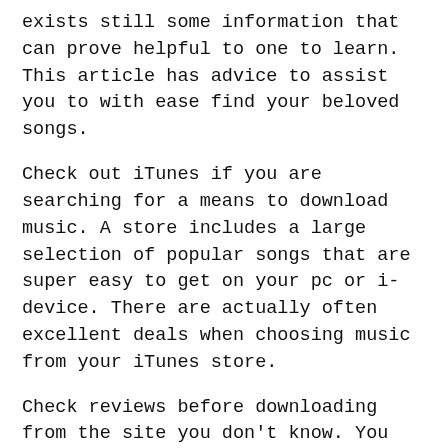exists still some information that can prove helpful to one to learn. This article has advice to assist you to with ease find your beloved songs.
Check out iTunes if you are searching for a means to download music. A store includes a large selection of popular songs that are super easy to get on your pc or i-device. There are actually often excellent deals when choosing music from your iTunes store.
Check reviews before downloading from the site you don't know. You must learn if the website is safe to use, or whether or not this could compromise your pc. If you're incapable of locate most of these reviews, then you're best served at a different music site.
Never download music without needing active antivirus software. It is advisable to err on the side of caution. Be sure to be safe if you download. If you are using a P2P client, this really is very important. Ensure that you scan files just before opening them.